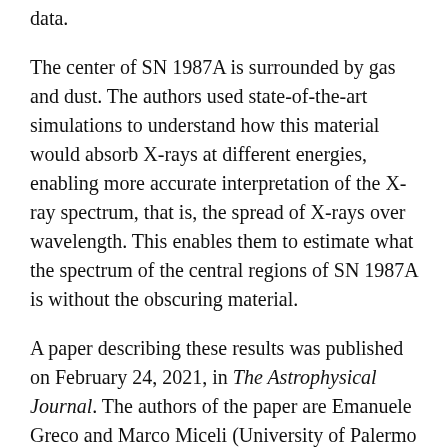data.
The center of SN 1987A is surrounded by gas and dust. The authors used state-of-the-art simulations to understand how this material would absorb X-rays at different energies, enabling more accurate interpretation of the X-ray spectrum, that is, the spread of X-rays over wavelength. This enables them to estimate what the spectrum of the central regions of SN 1987A is without the obscuring material.
A paper describing these results was published on February 24, 2021, in The Astrophysical Journal. The authors of the paper are Emanuele Greco and Marco Miceli (University of Palermo in Italy), Salvatore Orlando, Barbara Olmi and Fabrizio Bocchino (Palermo Astronomical Observatory, a National Institute for Astrophysics, or INAF, [facility]), Shin-ichiro Nomotchi and...